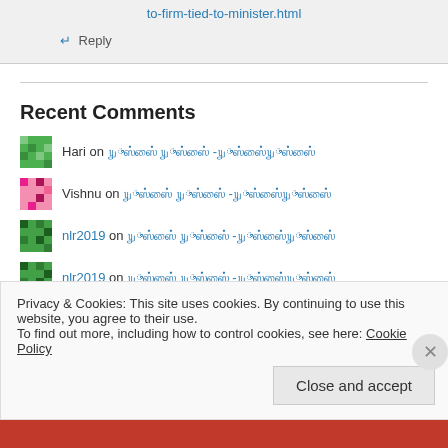to-firm-tied-to-minister.html
↵ Reply
Recent Comments
Hari on [Tamil text link]
Vishnu on [Tamil text link]
nlr2019 on [Tamil text link]
nlr2019 on [Tamil text link]
Privacy & Cookies: This site uses cookies. By continuing to use this website, you agree to their use. To find out more, including how to control cookies, see here: Cookie Policy
Close and accept